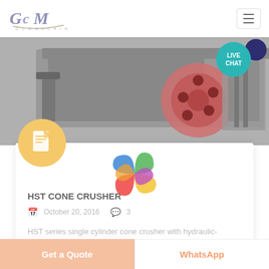[Figure (logo): GCM Machinery logo with stylized GCM text in purple/grey and tagline GCM MACHINERY underneath]
[Figure (photo): Grayscale industrial machinery photo showing cone crusher equipment with a red flywheel visible]
[Figure (illustration): Teal live chat button with speech bubble and dark navy chat icon to the right]
[Figure (illustration): Yellow circular icon with white document/page icon inside]
[Figure (illustration): Colorful spinning loading indicator with rainbow petals (macOS-style beachball spinner)]
HST CONE CRUSHER
October 20, 2016   3
HST series single cylinder cone crusher with hydraulic-driven...
Get a Quote
WhatsApp